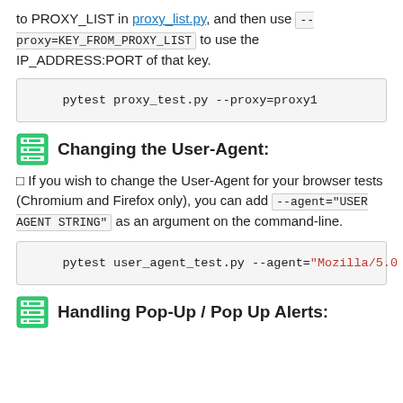to PROXY_LIST in proxy_list.py, and then use --proxy=KEY_FROM_PROXY_LIST to use the IP_ADDRESS:PORT of that key.
[Figure (other): Code block showing: pytest proxy_test.py --proxy=proxy1]
Changing the User-Agent:
If you wish to change the User-Agent for your browser tests (Chromium and Firefox only), you can add --agent="USER AGENT STRING" as an argument on the command-line.
[Figure (other): Code block showing: pytest user_agent_test.py --agent="Mozilla/5.0 (Ni]
Handling Pop-Up / Pop Up Alerts: